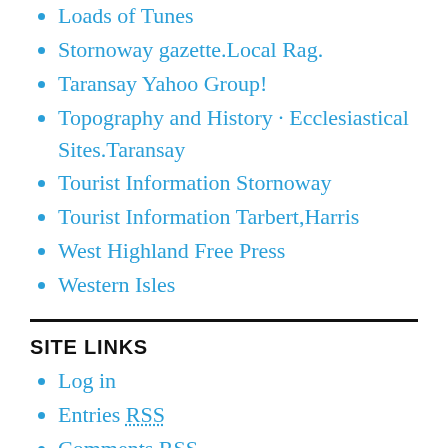Loads of Tunes
Stornoway gazette.Local Rag.
Taransay Yahoo Group!
Topography and History · Ecclesiastical Sites.Taransay
Tourist Information Stornoway
Tourist Information Tarbert,Harris
West Highland Free Press
Western Isles
SITE LINKS
Log in
Entries RSS
Comments RSS